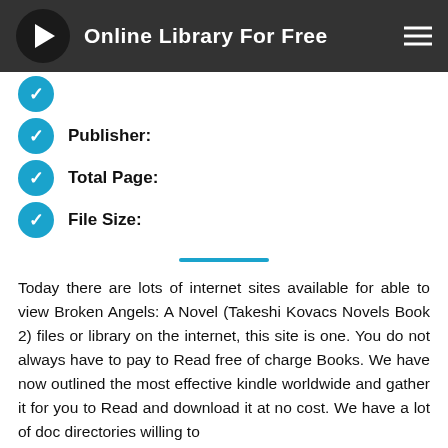Online Library For Free
Publisher:
Total Page:
File Size:
Today there are lots of internet sites available for able to view Broken Angels: A Novel (Takeshi Kovacs Novels Book 2) files or library on the internet, this site is one. You do not always have to pay to Read free of charge Books. We have now outlined the most effective kindle worldwide and gather it for you to Read and download it at no cost. We have a lot of doc directories willing to